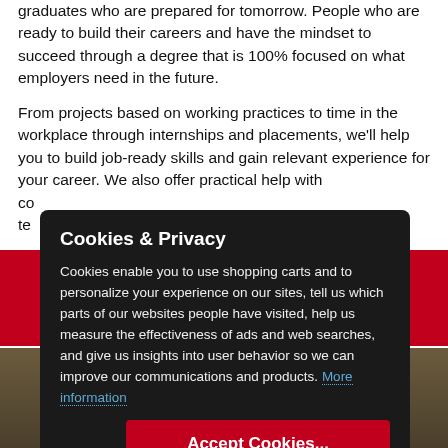graduates who are prepared for tomorrow. People who are ready to build their careers and have the mindset to succeed through a degree that is 100% focused on what employers need in the future.
From projects based on working practices to time in the workplace through internships and placements, we'll help you to build job-ready skills and gain relevant experience for your career. We also offer practical help with co... te...
Cookies & Privacy

Cookies enable you to use shopping carts and to personalize your experience on our sites, tell us which parts of our websites people have visited, help us measure the effectiveness of ads and web searches, and give us insights into user behavior so we can improve our communications and products. More information
Accept Cookies...